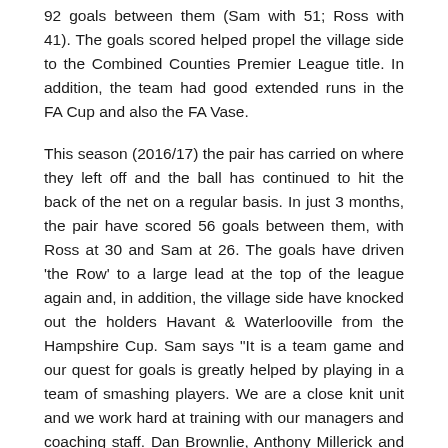92 goals between them (Sam with 51; Ross with 41). The goals scored helped propel the village side to the Combined Counties Premier League title. In addition, the team had good extended runs in the FA Cup and also the FA Vase.
This season (2016/17) the pair has carried on where they left off and the ball has continued to hit the back of the net on a regular basis. In just 3 months, the pair have scored 56 goals between them, with Ross at 30 and Sam at 26. The goals have driven 'the Row' to a large lead at the top of the league again and, in addition, the village side have knocked out the holders Havant & Waterlooville from the Hampshire Cup. Sam says "It is a team game and our quest for goals is greatly helped by playing in a team of smashing players. We are a close knit unit and we work hard at training with our managers and coaching staff. Dan Brownlie, Anthony Millerick and Luke Tuffs always motivate and prepare us well for every match".
Sam Argent is the team captain and he leads from the front. His selection as team captain was an inspirational choice, as he provides a high work rate ethic as an example to the rest of his team. He commands respect with everyone at the club